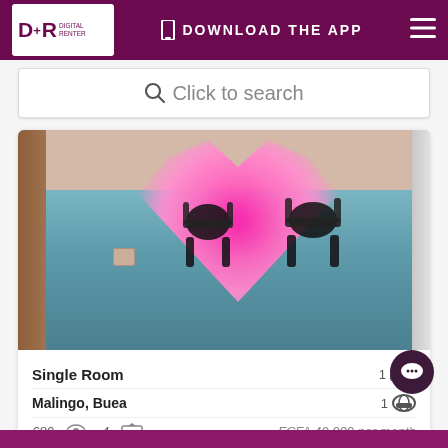D+R DIGITAL RENTER | DOWNLOAD THE APP
Click to search
[Figure (photo): Interior photo of a single room with blue tiled floor, pink walls, a bright pink heart-shaped blur overlay (privacy redaction), and black chair silhouettes visible. Room has a wooden door frame on the left and a lighter wall on the right.]
Single Room	1 bed
Malingo, Buea	1 bath
680 views  4 photos	FCFA 40,000 per month